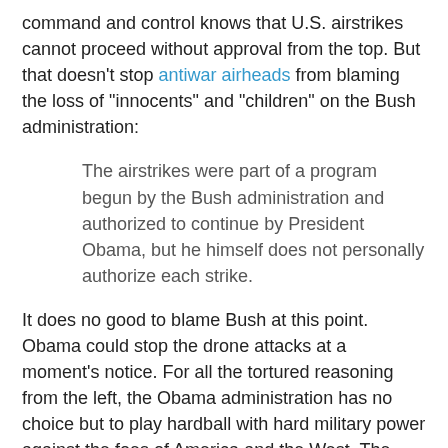command and control knows that U.S. airstrikes cannot proceed without approval from the top. But that doesn't stop antiwar airheads from blaming the loss of "innocents" and "children" on the Bush administration:
The airstrikes were part of a program begun by the Bush administration and authorized to continue by President Obama, but he himself does not personally authorize each strike.
It does no good to blame Bush at this point. Obama could stop the drone attacks at a moment's notice. For all the tortured reasoning from the left, the Obama administration has no choice but to play hardball with hard military power against the foes of America and the West. The U.S. raids will send the possible signal of U.S. posture and intentions. The Obama adminisration is letting it be known to hostile audiences worldwide that American policy will display continuity and even escalation of pressure in the face of radicals who are committing acts of violent mayhem around the world.